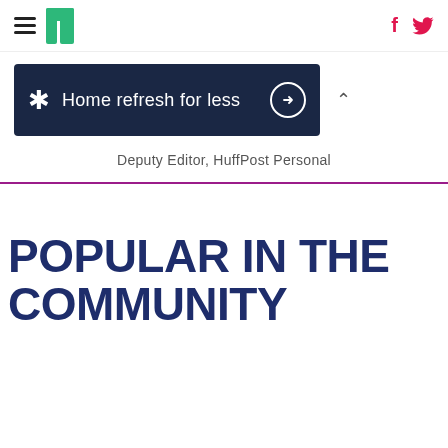HuffPost navigation with hamburger menu, logo, Facebook and Twitter icons
[Figure (other): Walmart advertisement banner: dark navy blue background with Walmart spark logo and text 'Home refresh for less' with arrow circle button]
Deputy Editor, HuffPost Personal
POPULAR IN THE COMMUNITY